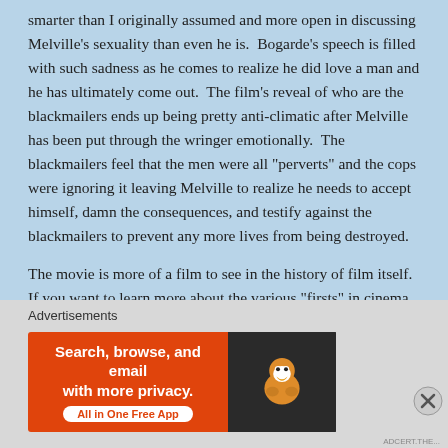smarter than I originally assumed and more open in discussing Melville's sexuality than even he is. Bogarde's speech is filled with such sadness as he comes to realize he did love a man and he has ultimately come out. The film's reveal of who are the blackmailers ends up being pretty anti-climatic after Melville has been put through the wringer emotionally. The blackmailers feel that the men were all "perverts" and the cops were ignoring it leaving Melville to realize he needs to accept himself, damn the consequences, and testify against the blackmailers to prevent any more lives from being destroyed.
The movie is more of a film to see in the history of film itself. If you want to learn more about the various "firsts" in cinema than Victim needs to be on your list. As a film though it's not anything you'd want to watch for fun. I'm glad I saw it and it is
[Figure (other): DuckDuckGo advertisement banner: orange left section with text 'Search, browse, and email with more privacy. All in One Free App' and dark right section with DuckDuckGo duck logo]